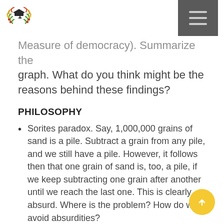[Logo] [Hamburger menu button]
Measure of democracy). Summarize the graph. What do you think might be the reasons behind these findings?
PHILOSOPHY
Sorites paradox. Say, 1,000,000 grains of sand is a pile. Subtract a grain from any pile, and we still have a pile. However, it follows then that one grain of sand is, too, a pile, if we keep subtracting one grain after another until we reach the last one. This is clearly absurd. Where is the problem? How do we avoid absurdities?
You are offered a million dollars to intend to